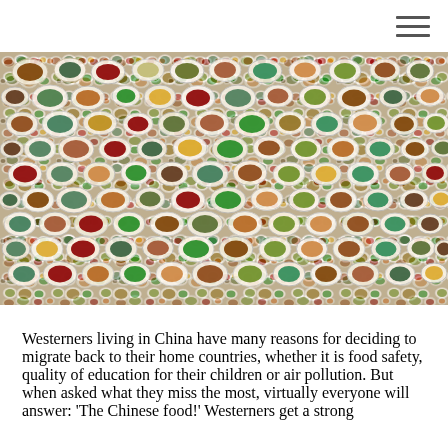[Figure (photo): A dense mosaic/collage of hundreds of Chinese food dishes — plates, bowls, and platters filled with various colorful Chinese foods viewed from above, arranged to fill the entire image area.]
Westerners living in China have many reasons for deciding to migrate back to their home countries, whether it is food safety, quality of education for their children or air pollution. But when asked what they miss the most, virtually everyone will answer: 'The Chinese food!' Westerners get a strong